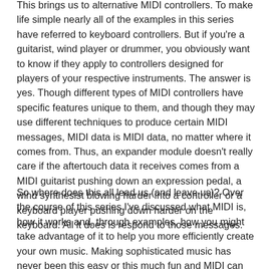This brings us to alternative MIDI controllers. To make life simple nearly all of the examples in this series have referred to keyboard controllers. But if you're a guitarist, wind player or drummer, you obviously want to know if they apply to controllers designed for players of your respective instruments. The answer is yes. Though different types of MIDI controllers have specific features unique to them, and though they may use different techniques to produce certain MIDI messages, MIDI data is MIDI data, no matter where it comes from. Thus, an expander module doesn't really care if the aftertouch data it receives comes from a MIDI guitarist pushing down an expression pedal, a wind synthesist blowing harder into a controller or a keyboard player pushing down harder on the keyboard. All it does is respond to those messages.
So where does this all lead us (and leave us)? Over the course of this series I've discussed what MIDI is, how it works and, through examples, how you might take advantage of it to help you more efficiently create your own music. Making sophisticated music has never been this easy or this much fun and MIDI can take the